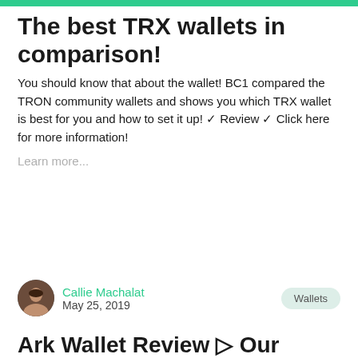The best TRX wallets in comparison!
You should know that about the wallet! BC1 compared the TRON community wallets and shows you which TRX wallet is best for you and how to set it up! ✓ Review ✓ Click here for more information!
Learn more...
Callie Machalat
May 25, 2019
Ark Wallet Review ▷ Our